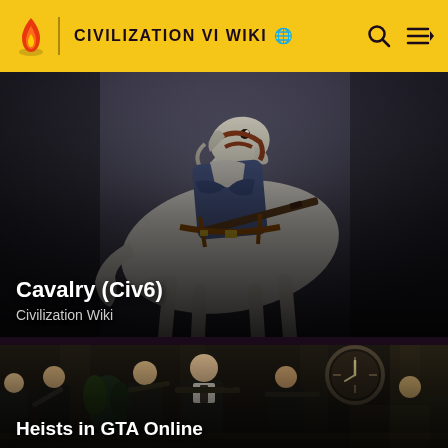CIVILIZATION VI WIKI
[Figure (screenshot): Cavalry (Civ6) wiki article thumbnail showing an illustrated white horse with a soldier holding a rifle, against a dark background]
Cavalry (Civ6)
Civilization Wiki
[Figure (screenshot): Heists in GTA Online article thumbnail showing armed men in suits inside a grand building interior with a clock]
Heists in GTA Online